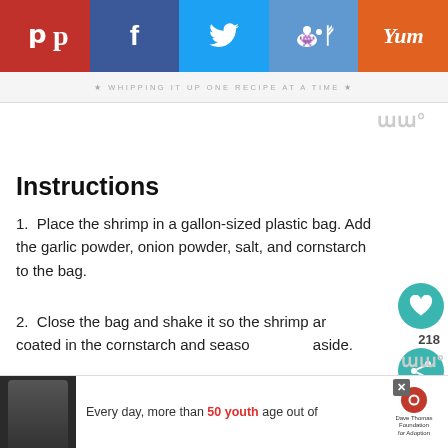[Figure (screenshot): Social media share bar with Pinterest (red), Facebook (dark blue), Twitter (light blue), Reddit (blue), Yummly (orange) buttons]
WHIPPING IT UP ONE RECIPE AT A TIME
Instructions
Place the shrimp in a gallon-sized plastic bag. Add the garlic powder, onion powder, salt, and cornstarch to the bag.
Close the bag and shake it so the shrimp are coated in the cornstarch and seasoning. Set aside.
In a small bowl, whisk together the
[Figure (other): Advertisement banner: Every day, more than 50 youth age out of foster care. Dave Thomas Foundation for Adoption.]